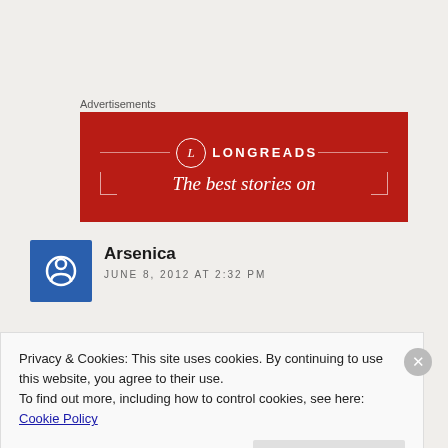Advertisements
[Figure (illustration): Longreads advertisement banner — red background with Longreads logo (circle with L), decorative bracket lines, and tagline 'The best stories on']
Arsenica
JUNE 8, 2012 AT 2:32 PM
Privacy & Cookies: This site uses cookies. By continuing to use this website, you agree to their use.
To find out more, including how to control cookies, see here: Cookie Policy
Close and accept